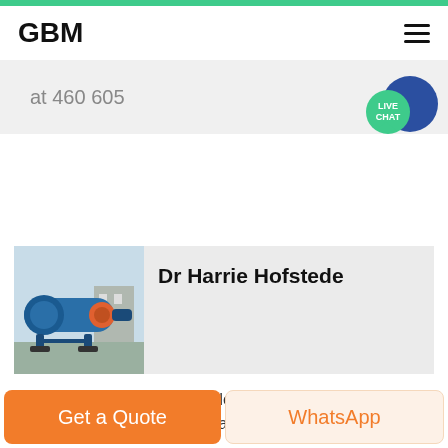GBM
at 460 605
Get Price
Dr Harrie Hofstede
[Figure (photo): Blue industrial ball mill machine on stands, outdoors]
2021 10 22 Dr Harrie HofstedeDr Hofstede has a degree in Environmental and Agricultural Engineering Science from the Netherlands and a PhD in Integrated Waste Management from Murdoch University Australia Bachelor of
Get a Quote
WhatsApp